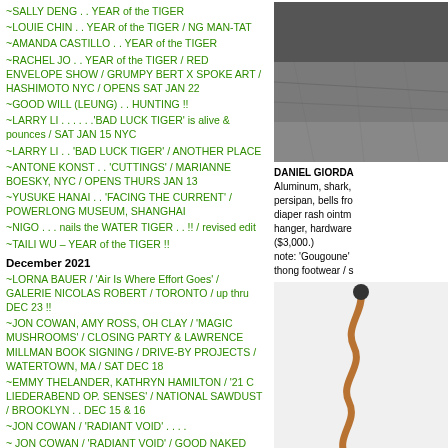~SALLY DENG . . YEAR of the TIGER
~LOUIE CHIN . . YEAR of the TIGER / NG MAN-TAT
~AMANDA CASTILLO . . YEAR of the TIGER
~RACHEL JO . . YEAR of the TIGER / RED ENVELOPE SHOW / GRUMPY BERT X SPOKE ART / HASHIMOTO NYC / OPENS SAT JAN 22
~GOOD WILL (LEUNG) . . HUNTING !!
~LARRY LI . . . . . .'BAD LUCK TIGER' is alive & pounces / SAT JAN 15 NYC
~LARRY LI . . 'BAD LUCK TIGER' / ANOTHER PLACE
~ANTONE KONST . . 'CUTTINGS' / MARIANNE BOESKY, NYC / OPENS THURS JAN 13
~YUSUKE HANAI . . 'FACING THE CURRENT' / POWERLONG MUSEUM, SHANGHAI
~NIGO . . . nails the WATER TIGER . . !! / revised edit
~TAILI WU – YEAR of the TIGER !!
December 2021
~LORNA BAUER / 'Air Is Where Effort Goes' / GALERIE NICOLAS ROBERT / TORONTO / up thru DEC 23 !!
~JON COWAN, AMY ROSS, OH CLAY / 'MAGIC MUSHROOMS' / CLOSING PARTY & LAWRENCE MILLMAN BOOK SIGNING / DRIVE-BY PROJECTS / WATERTOWN, MA / SAT DEC 18
~EMMY THELANDER, KATHRYN HAMILTON / '21 C LIEDERABEND OP. SENSES' / NATIONAL SAWDUST / BROOKLYN . . DEC 15 & 16
~JON COWAN / 'RADIANT VOID' . . . .
~ JON COWAN / 'RADIANT VOID' / GOOD NAKED GALLERY / L.E.S. NYC / OPENS FRI DEC 10
~JON COWAN / 'RADIANT VOID' / ELIZABETH MOORE GALLERY, HUDSON NY
~HALEY JOSEPHS / 'RARE BIRD' / JACK BARRETT GALLERY / NADA, MIAMI
November 2021
~NOAH BECKER / 'WHAT IF . . . .'
~RUNN AND LAMPERT / 'HOW DO I MEASURE MY
[Figure (photo): Dark photograph, appears to show a textured surface or ground]
DANIEL GIORDA
Aluminum, shark, persipan, bells from diaper rash ointm hanger, hardware ($3,000.)
note: 'Gougoune' thong footwear / s
[Figure (photo): Photograph of a twisted copper wire or rod sculpture against white background]